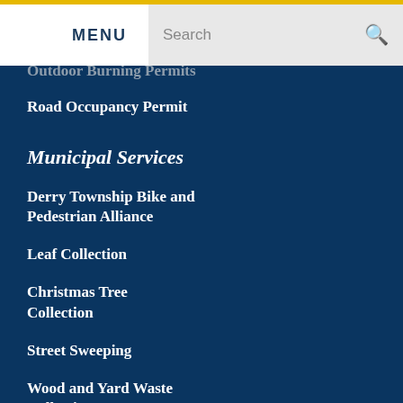MENU  Search
Outdoor Burning Permits
Road Occupancy Permit
Municipal Services
Derry Township Bike and Pedestrian Alliance
Leaf Collection
Christmas Tree Collection
Street Sweeping
Wood and Yard Waste Collection
Trash and Recycling
Snow Removal